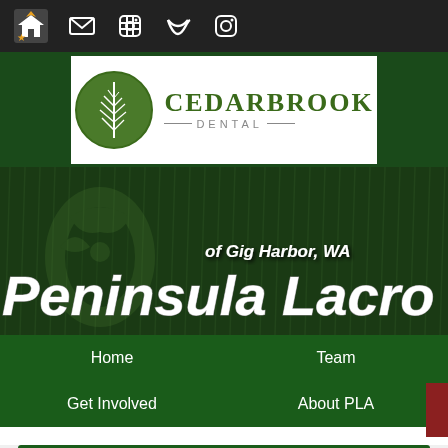Top navigation bar with icons: home/star, email, facebook, twitter, instagram
[Figure (logo): Cedarbrook Dental logo: green circle with white fern leaf, text CEDARBROOK DENTAL]
[Figure (photo): Peninsula Lacrosse of Gig Harbor, WA hero banner with dark green grass background, tribal artwork, text 'of Gig Harbor, WA' and 'Peninsula Lacro' (cropped)]
Home
Team
Get Involved
About PLA
Request a Coach Meeting
REQUEST A COACH MEETING